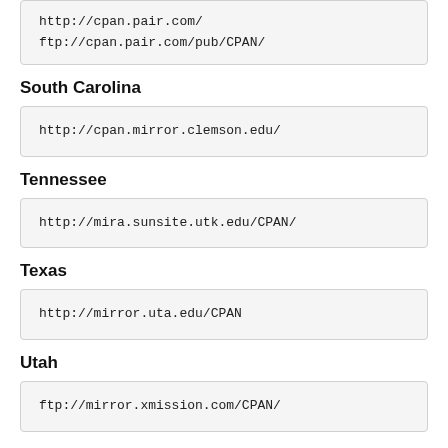http://cpan.pair.com/
ftp://cpan.pair.com/pub/CPAN/
South Carolina
http://cpan.mirror.clemson.edu/
Tennessee
http://mira.sunsite.utk.edu/CPAN/
Texas
http://mirror.uta.edu/CPAN
Utah
ftp://mirror.xmission.com/CPAN/